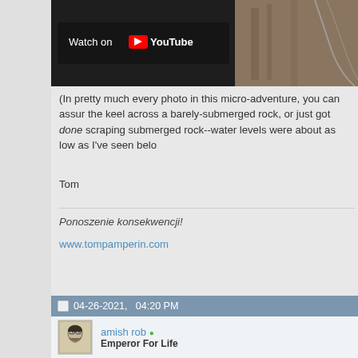[Figure (screenshot): YouTube video thumbnail showing Watch on YouTube overlay button with wooden boat deck background]
(In pretty much every photo in this micro-adventure, you can assure the keel across a barely-submerged rock, or just got done scraping submerged rock--water levels were about as low as I've seen below
Tom
Ponoszenie konsekwencji!
www.tompamperin.com
04-26-2021,    04:20 PM
[Figure (photo): Profile avatar image of amish rob, showing a drawing of a bearded figure]
amish rob
Emperor For Life
Re: Boating Micro-Adventures